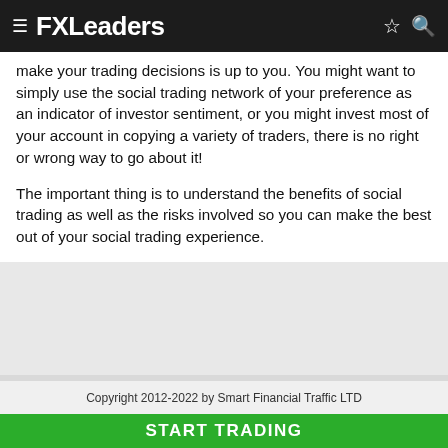FXLeaders
make your trading decisions is up to you. You might want to simply use the social trading network of your preference as an indicator of investor sentiment, or you might invest most of your account in copying a variety of traders, there is no right or wrong way to go about it!
The important thing is to understand the benefits of social trading as well as the risks involved so you can make the best out of your social trading experience.
Copyright 2012-2022 by Smart Financial Traffic LTD
START TRADING